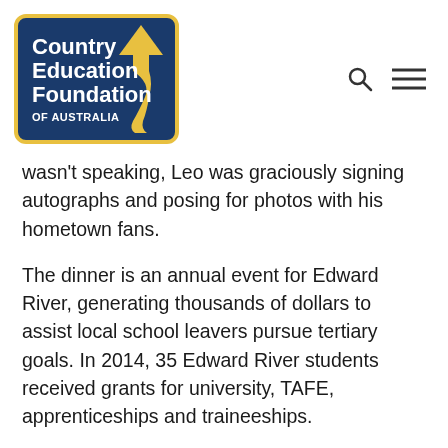[Figure (logo): Country Education Foundation of Australia logo — dark blue rectangle with yellow border, white bold text and yellow road/arrow graphic]
wasn't speaking, Leo was graciously signing autographs and posing for photos with his hometown fans.
The dinner is an annual event for Edward River, generating thousands of dollars to assist local school leavers pursue tertiary goals. In 2014, 35 Edward River students received grants for university, TAFE, apprenticeships and traineeships.
Edward River Chairman, Richard Fogarty said the dinner was a fantastic event and financially very successful for the ERCEF.